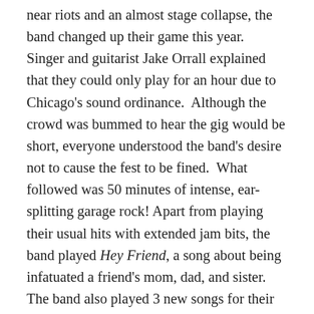near riots and an almost stage collapse, the band changed up their game this year. Singer and guitarist Jake Orrall explained that they could only play for an hour due to Chicago's sound ordinance. Although the crowd was bummed to hear the gig would be short, everyone understood the band's desire not to cause the fest to be fined. What followed was 50 minutes of intense, ear-splitting garage rock! Apart from playing their usual hits with extended jam bits, the band played Hey Friend, a song about being infatuated a friend's mom, dad, and sister. The band also played 3 new songs for their fans who had created a nice sized mosh pit front and center.
JEFF the Brotherhood is set to release a new